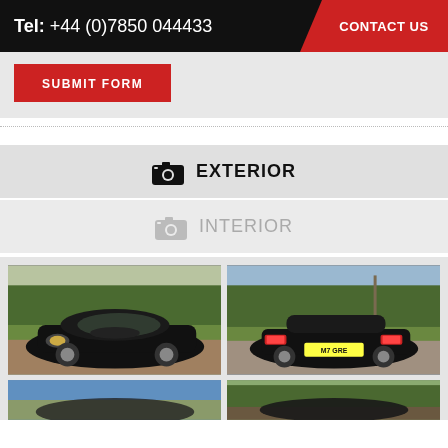Tel: +44 (0)7850 044433  CONTACT US
SUBMIT FORM
EXTERIOR
INTERIOR
[Figure (photo): Black sports car (TVR) photographed from the front-left on a country road, trees in background]
[Figure (photo): Black sports car (TVR) photographed from the rear on a country road, registration plate M7 GRE visible]
[Figure (photo): Partial view of a car exterior, blue sky background]
[Figure (photo): Partial view of a car, trees in background]